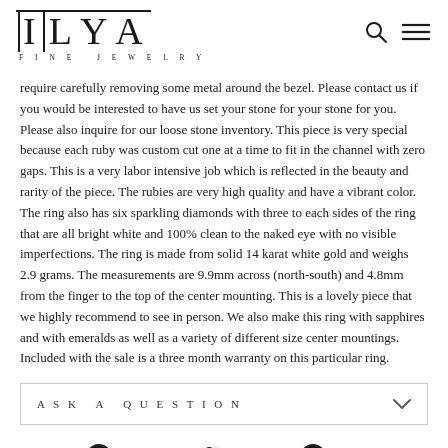ILYA FINE JEWELRY
require carefully removing some metal around the bezel. Please contact us if you would be interested to have us set your stone for your stone for you. Please also inquire for our loose stone inventory. This piece is very special because each ruby was custom cut one at a time to fit in the channel with zero gaps. This is a very labor intensive job which is reflected in the beauty and rarity of the piece. The rubies are very high quality and have a vibrant color. The ring also has six sparkling diamonds with three to each sides of the ring that are all bright white and 100% clean to the naked eye with no visible imperfections. The ring is made from solid 14 karat white gold and weighs 2.9 grams. The measurements are 9.9mm across (north-south) and 4.8mm from the finger to the top of the center mounting. This is a lovely piece that we highly recommend to see in person. We also make this ring with sapphires and with emeralds as well as a variety of different size center mountings. Included with the sale is a three month warranty on this particular ring.
ASK A QUESTION